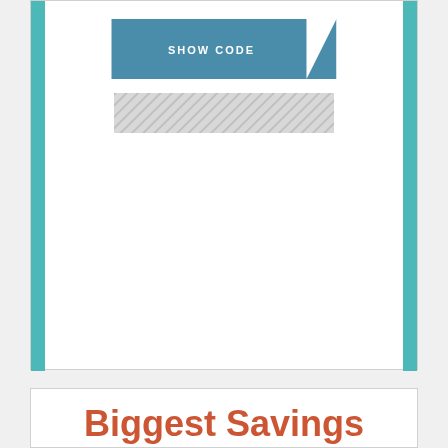[Figure (infographic): A coupon widget UI showing a 'SHOW CODE' button in blue with a diagonal white accent stripe, and a hatched gray bar below representing a hidden coupon code field. Teal vertical bars on left and right sides of the card.]
Biggest Savings Coupon: Get save 10% on accessories in the savings subscription! Deal Here